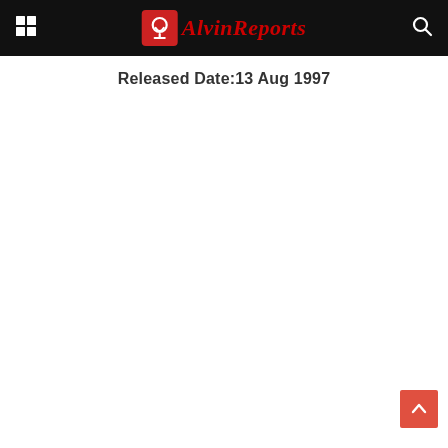AlvinReports
Released Date:13 Aug 1997